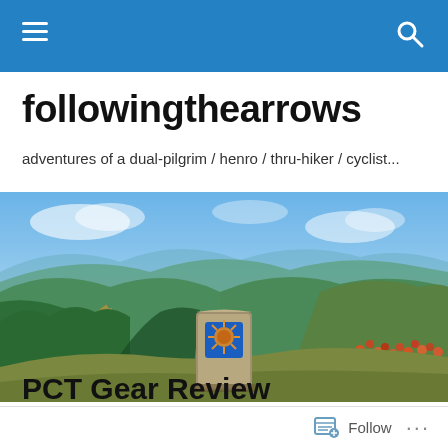followingthearrows navigation bar
followingthearrows
adventures of a dual-pilgrim / henro / thru-hiker / cyclist...
[Figure (photo): Panoramic landscape showing green rolling hills and mountains under a blue sky, with a stone waymarker bearing the Camino de Santiago blue scallop shell tile in the foreground, and orange wildflowers on the right side. A dirt road winds through a forested valley on the left.]
PCT Gear Review
Follow